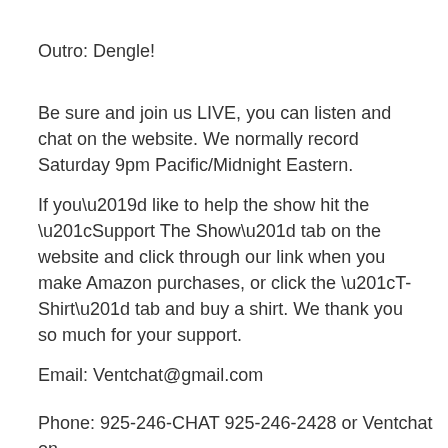Outro: Dengle!
Be sure and join us LIVE, you can listen and chat on the website. We normally record Saturday 9pm Pacific/Midnight Eastern.
If you’d like to help the show hit the “Support The Show” tab on the website and click through our link when you make Amazon purchases, or click the “T-Shirt” tab and buy a shirt. We thank you so much for your support.
Email: Ventchat@gmail.com
Phone: 925-246-CHAT 925-246-2428 or Ventchat on